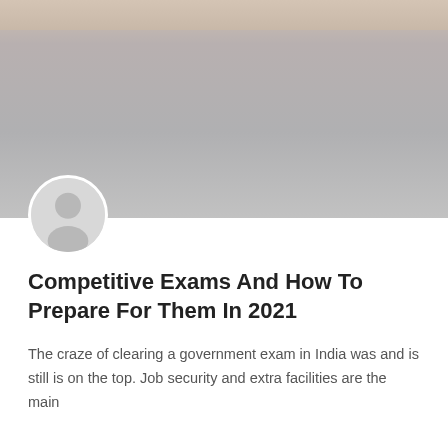[Figure (photo): Blurred/faded header image of a student studying, shown at the top of the page. Mostly grey/beige tones.]
Competitive Exams And How To Prepare For Them In 2021
The craze of clearing a government exam in India was and is still is on the top. Job security and extra facilities are the main